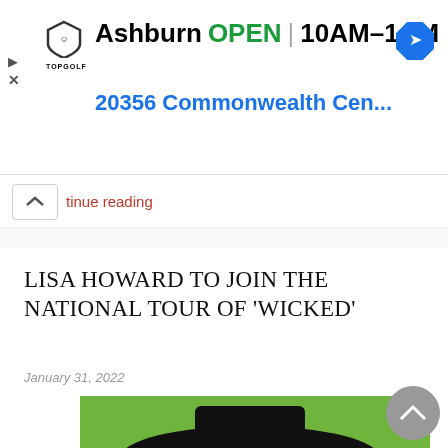[Figure (screenshot): Topgolf advertisement banner showing Ashburn location, OPEN status, hours 10AM-1AM, address 20356 Commonwealth Cen..., with navigation arrow icon]
tinue reading
LISA HOWARD TO JOIN THE NATIONAL TOUR OF 'WICKED'
January 31, 2022
[Figure (photo): Person wearing a black witch hat and costume with green-tinted skin, against a green background — character from Wicked musical]